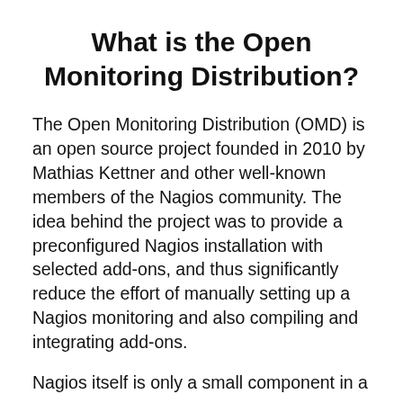What is the Open Monitoring Distribution?
The Open Monitoring Distribution (OMD) is an open source project founded in 2010 by Mathias Kettner and other well-known members of the Nagios community. The idea behind the project was to provide a preconfigured Nagios installation with selected add-ons, and thus significantly reduce the effort of manually setting up a Nagios monitoring and also compiling and integrating add-ons.
Nagios itself is only a small component in a